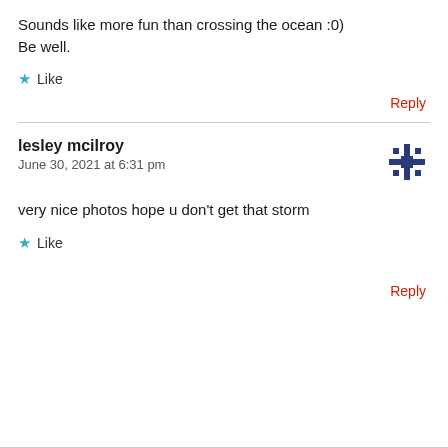Sounds like more fun than crossing the ocean :0)
Be well.
★ Like
Reply
lesley mcilroy
June 30, 2021 at 6:31 pm
very nice photos hope u don't get that storm
★ Like
Reply